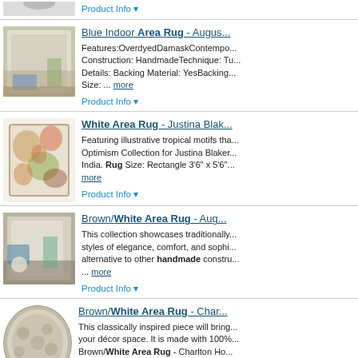[Figure (photo): Partial product image of a rug at top of page]
Product Info ▼
[Figure (photo): Photo of a light-colored indoor area rug in a living room setting]
Blue Indoor Area Rug - Augus... Features:OverdyedDamaskContempo... Construction: HandmadeTechnique: Tu... Details: Backing Material: YesBacking... Size: ... more
Product Info ▼
[Figure (photo): Photo of a white area rug with tropical floral motif]
White Area Rug - Justina Blak... Featuring illustrative tropical motifs tha... Optimism Collection for Justina Blaker... India. Rug Size: Rectangle 3'6" x 5'6"... more
Product Info ▼
[Figure (photo): Photo of a brown/white area rug in a living room setting]
Brown/White Area Rug - Aug... This collection showcases traditionally... styles of elegance, comfort, and sophi... alternative to other handmade constru... ... more
Product Info ▼
[Figure (photo): Photo of a round brown/white area rug with floral pattern]
Brown/White Area Rug - Char... This classically inspired piece will bring... your décor space. It is made with 100%... Brown/White Area Rug - Charlton Ho... Wool... ... more